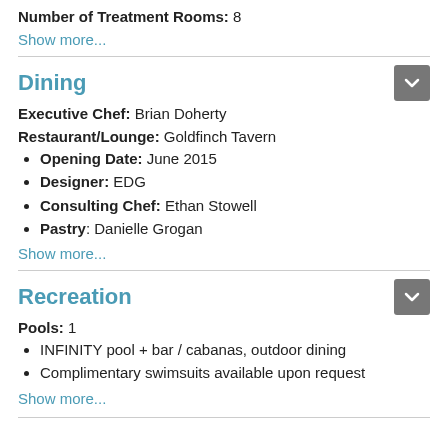Number of Treatment Rooms: 8
Show more...
Dining
Executive Chef: Brian Doherty
Restaurant/Lounge: Goldfinch Tavern
Opening Date: June 2015
Designer: EDG
Consulting Chef: Ethan Stowell
Pastry: Danielle Grogan
Show more...
Recreation
Pools: 1
INFINITY pool + bar / cabanas, outdoor dining
Complimentary swimsuits available upon request
Show more...